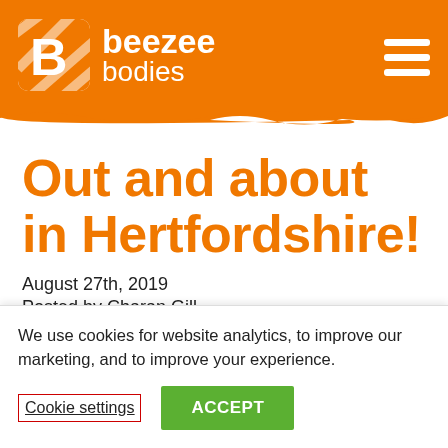[Figure (logo): Beezeebodies logo with orange background, letter B icon and text 'beezee bodies', hamburger menu icon on the right]
Out and about in Hertfordshire!
August 27th, 2019
Posted by Charan Gill
We use cookies for website analytics, to improve our marketing, and to improve your experience.
Cookie settings   ACCEPT